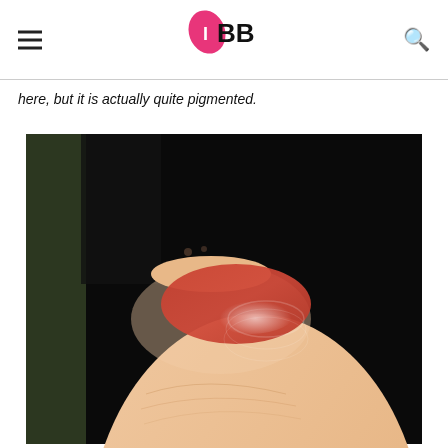IMBB logo with hamburger menu and search icon
here, but it is actually quite pigmented.
[Figure (photo): Close-up photo of a finger with a red-orange lipstick swatch applied to the fingernail/fingertip area, showing the pigmentation of the product against skin tone, with a blurred dark background.]